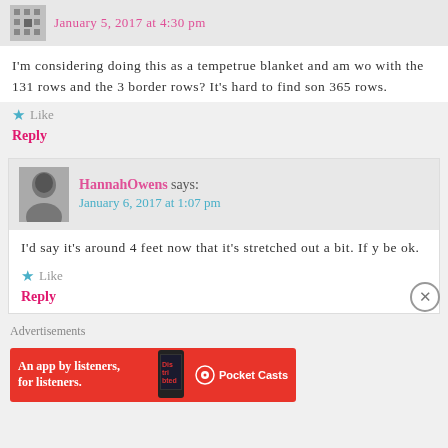January 5, 2017 at 4:30 pm
I'm considering doing this as a tempetrue blanket and am wo with the 131 rows and the 3 border rows? It's hard to find son 365 rows.
Like
Reply
HannahOwens says: January 6, 2017 at 1:07 pm
I'd say it's around 4 feet now that it's stretched out a bit. If y be ok.
Like
Reply
Advertisements
[Figure (illustration): Pocket Casts advertisement banner: red background with text 'An app by listeners, for listeners.' and Pocket Casts logo with phone image]